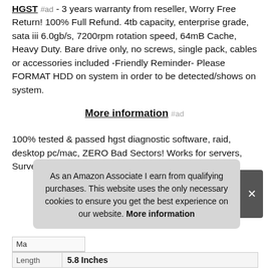HGST #ad - 3 years warranty from reseller, Worry Free Return! 100% Full Refund. 4tb capacity, enterprise grade, sata iii 6.0gb/s, 7200rpm rotation speed, 64mB Cache, Heavy Duty. Bare drive only, no screws, single pack, cables or accessories included -Friendly Reminder- Please FORMAT HDD on system in order to be detected/shows on system.
More information #ad
100% tested & passed hgst diagnostic software, raid, desktop pc/mac, ZERO Bad Sectors! Works for servers, Surveillance System, NAS, CCTV DVR.
As an Amazon Associate I earn from qualifying purchases. This website uses the only necessary cookies to ensure you get the best experience on our website. More information
| Ma |  |
| Length | 5.8 Inches |